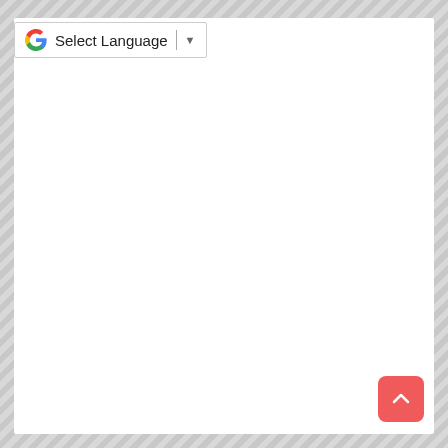[Figure (screenshot): Google Translate widget showing 'Select Language' dropdown button with Google G logo and a dropdown arrow, inside a white bordered box]
[Figure (other): Red rounded square back-to-top button with white upward chevron arrow in bottom-right corner]